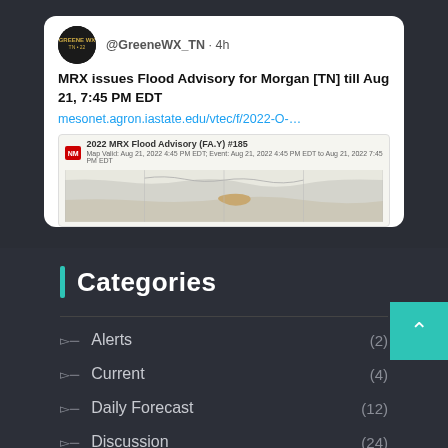[Figure (screenshot): Tweet screenshot from @GreeneWX_TN showing a flood advisory message: 'MRX issues Flood Advisory for Morgan [TN] till Aug 21, 7:45 PM EDT' with a link to mesonet.agron.iastate.edu/vtec/f/2022-O-... and a map preview showing '2022 MRX Flood Advisory (FA.Y) #185']
Categories
Alerts (2)
Current (4)
Daily Forecast (12)
Discussion (24)